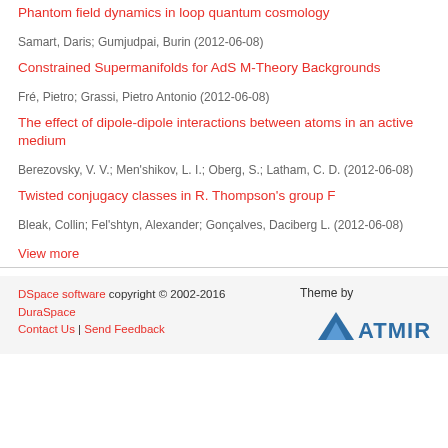Phantom field dynamics in loop quantum cosmology
Samart, Daris; Gumjudpai, Burin (2012-06-08)
Constrained Supermanifolds for AdS M-Theory Backgrounds
Fré, Pietro; Grassi, Pietro Antonio (2012-06-08)
The effect of dipole-dipole interactions between atoms in an active medium
Berezovsky, V. V.; Men'shikov, L. I.; Oberg, S.; Latham, C. D. (2012-06-08)
Twisted conjugacy classes in R. Thompson's group F
Bleak, Collin; Fel'shtyn, Alexander; Gonçalves, Daciberg L. (2012-06-08)
View more
DSpace software copyright © 2002-2016  DuraSpace  Contact Us | Send Feedback  Theme by ATMIRE